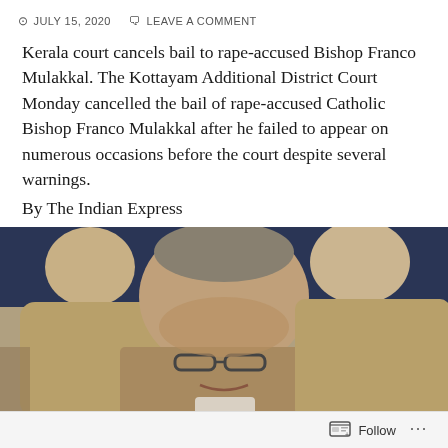JULY 15, 2020   LEAVE A COMMENT
Kerala court cancels bail to rape-accused Bishop Franco Mulakkal. The Kottayam Additional District Court Monday cancelled the bail of rape-accused Catholic Bishop Franco Mulakkal after he failed to appear on numerous occasions before the court despite several warnings.
By The Indian Express
https://indianexpress.com/article/india/kerala-nun-rape-case-bishop-franco-mulakkal-bail-cancelled-6503954/
[Figure (photo): Photo showing Bishop Franco Mulakkal surrounded by police officers in khaki uniforms, with a dark blue background visible behind them.]
Follow   ...